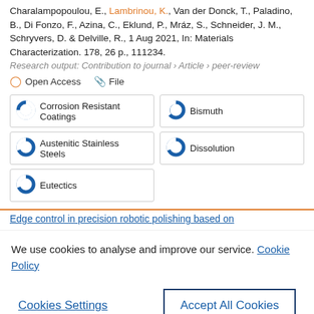Charalampopoulou, E., Lambrinou, K., Van der Donck, T., Paladino, B., Di Fonzo, F., Azina, C., Eklund, P., Mráz, S., Schneider, J. M., Schryvers, D. & Delville, R., 1 Aug 2021, In: Materials Characterization. 178, 26 p., 111234.
Research output: Contribution to journal › Article › peer-review
Open Access   File
Corrosion Resistant Coatings
Bismuth
Austenitic Stainless Steels
Dissolution
Eutectics
Edge control in precision robotic polishing based on...
We use cookies to analyse and improve our service. Cookie Policy
Cookies Settings
Accept All Cookies